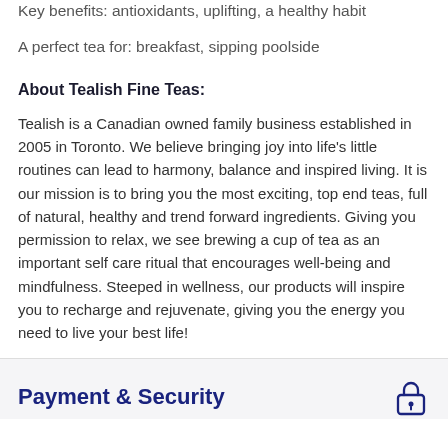Key benefits: antioxidants, uplifting, a healthy habit
A perfect tea for: breakfast, sipping poolside
About Tealish Fine Teas:
Tealish is a Canadian owned family business established in 2005 in Toronto. We believe bringing joy into life's little routines can lead to harmony, balance and inspired living. It is our mission is to bring you the most exciting, top end teas, full of natural, healthy and trend forward ingredients. Giving you permission to relax, we see brewing a cup of tea as an important self care ritual that encourages well-being and mindfulness. Steeped in wellness, our products will inspire you to recharge and rejuvenate, giving you the energy you need to live your best life!
Payment & Security